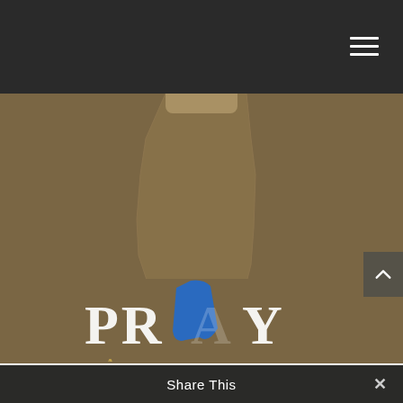[Figure (logo): PRAY ALABAMA logo with blue Alabama state outline incorporated into the letter A, white serif text, on dark background header bar]
[Figure (illustration): Website screenshot showing a tan/brown background with a subtle Alabama state map shape, hamburger menu icon in top right, scroll-to-top button on right side]
[Figure (logo): Large PRAY ALABAMA logo centered at bottom of content area, with blue Alabama silhouette and white/gold lettering, partially reflected]
Share This ×